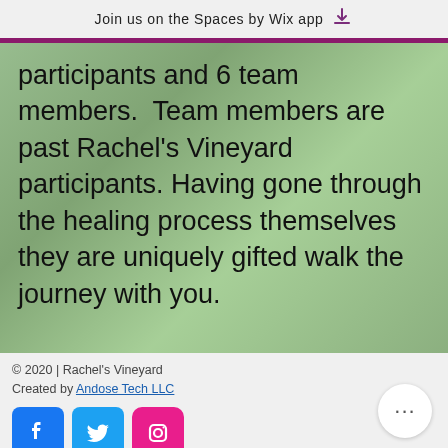Join us on the Spaces by Wix app
participants and 6 team members.  Team members are past Rachel’s Vineyard participants. Having gone through the healing process themselves they are uniquely gifted walk the journey with you.
© 2020 | Rachel's Vineyard
Created by Andose Tech LLC